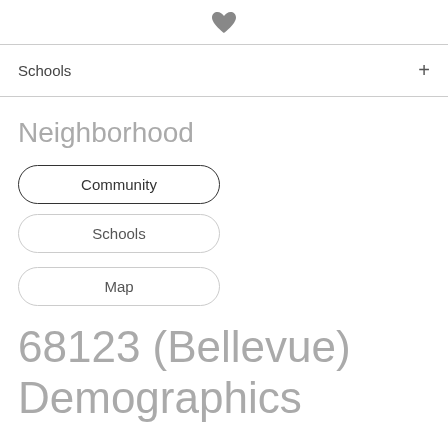♥
Schools +
Neighborhood
Community
Schools
Map
68123 (Bellevue) Demographics